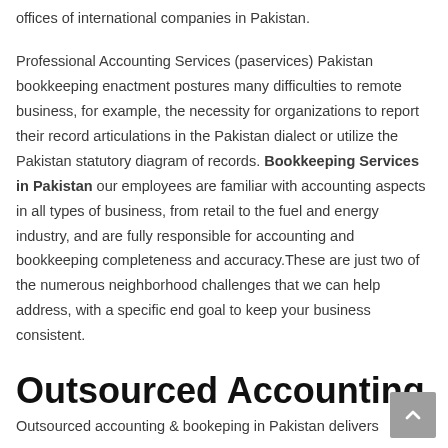offices of international companies in Pakistan.
Professional Accounting Services (paservices) Pakistan bookkeeping enactment postures many difficulties to remote business, for example, the necessity for organizations to report their record articulations in the Pakistan dialect or utilize the Pakistan statutory diagram of records. Bookkeeping Services in Pakistan our employees are familiar with accounting aspects in all types of business, from retail to the fuel and energy industry, and are fully responsible for accounting and bookkeeping completeness and accuracy.These are just two of the numerous neighborhood challenges that we can help address, with a specific end goal to keep your business consistent.
Outsourced Accounting
Outsourced accounting & bookeping in Pakistan delivers